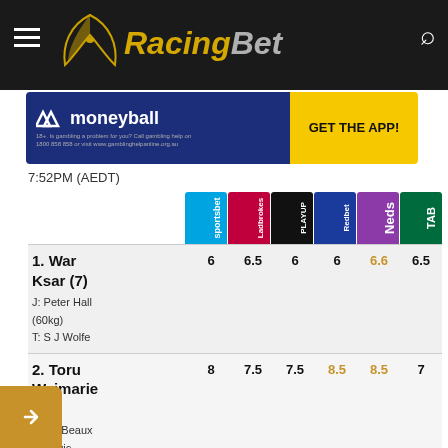[Figure (logo): RacingBet logo with hamburger menu and search icon on dark header bar]
[Figure (infographic): Moneyball advertisement banner with GET THE APP! call to action]
7:52PM (AEDT)
| Horse | Sportsbet | Ladbrokes | PlayUp | Redbet | Neds | TAB |
| --- | --- | --- | --- | --- | --- | --- |
| 1. War Ksar (7) J: Peter Hall (60kg) T: S J Wolfe | 6 | 6.5 | 6 | 6 | 6.6 | 6.5 |
| 2. Toru Waimarie (4) J: Ms Beaux Banovic-Edwards (57.5kg) T: G S Hughes | 8 | 7.5 | 7.5 | 8.5 | 8.5 | 7 |
| 3. (partial) | 5 | 5 | 5.5 | 5 | 5.2 | 5 |